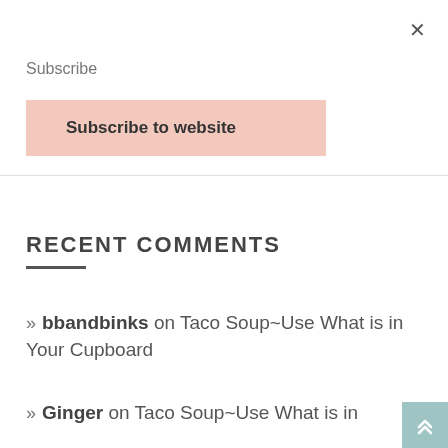×
Subscribe
Subscribe to website
RECENT COMMENTS
» bbandbinks on Taco Soup~Use What is in Your Cupboard
» Ginger on Taco Soup~Use What is in